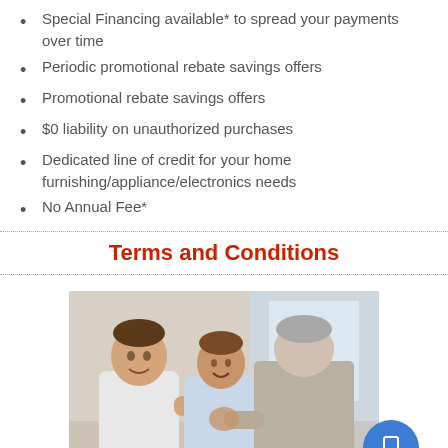Special Financing available* to spread your payments over time
Periodic promotional rebate savings offers
Promotional rebate savings offers
$0 liability on unauthorized purchases
Dedicated line of credit for your home furnishing/appliance/electronics needs
No Annual Fee*
Terms and Conditions
[Figure (photo): A couple smiling and shaking hands with an older advisor in a bright office setting]